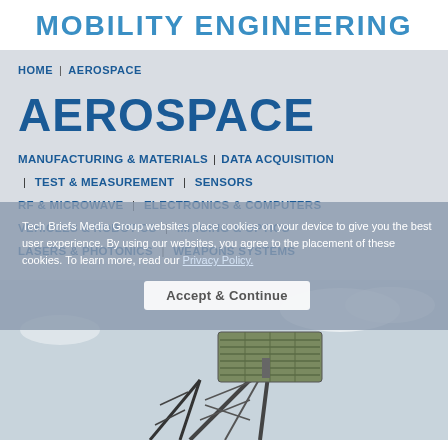MOBILITY ENGINEERING
HOME | AEROSPACE
AEROSPACE
MANUFACTURING & MATERIALS | DATA ACQUISITION | TEST & MEASUREMENT | SENSORS | RF & MICROWAVE | ELECTRONICS & COMPUTERS | VEHICLES & ROBOTICS | IMAGING & OPTICS | LASERS & PHOTONICS | WEAPONS SYSTEMS
Tech Briefs Media Group websites place cookies on your device to give you the best user experience. By using our websites, you agree to the placement of these cookies. To learn more, read our Privacy Policy.
[Figure (photo): Military radar antenna tower mounted on a steel frame structure, photographed against a light sky background.]